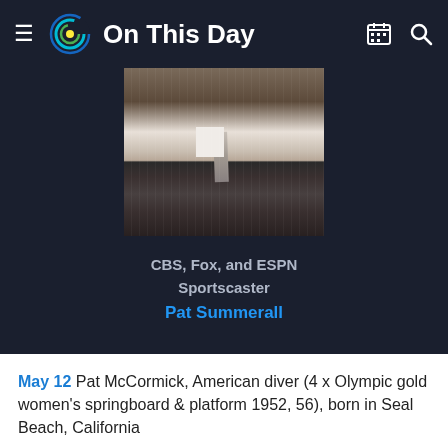On This Day
[Figure (photo): Headshot photo of a man in a striped suit with a tie, partially cropped]
CBS, Fox, and ESPN Sportscaster
Pat Summerall
May 12 Pat McCormick, American diver (4 x Olympic gold women's springboard & platform 1952, 56), born in Seal Beach, California
May 16 Brian Davies, Rugby League player, born in Brisbane, Australia (d. 2012)
May 29 Eddy Choong, Malaysian badminton player